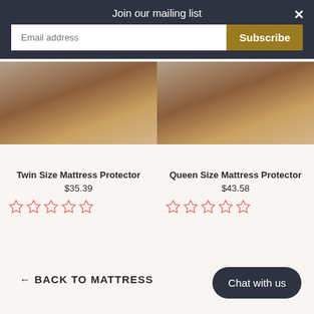Join our mailing list
Email address
Subscribe
[Figure (photo): Partial view of a wooden bed frame with mattress, warm brown tones, on tiled floor - Twin Size Mattress Protector product image]
Twin Size Mattress Protector
$35.39
[Figure (photo): Partial view of a wooden bed frame with mattress, warm brown tones, on tiled floor - Queen Size Mattress Protector product image]
Queen Size Mattress Protector
$43.58
← BACK TO MATTRESS
Chat with us